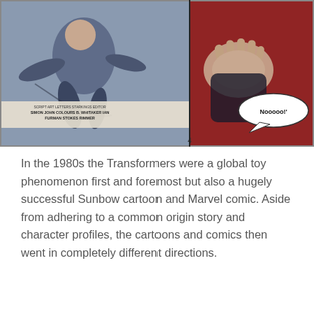[Figure (illustration): Comic book panel showing action scene. Credits read: SCRIPT SIMON FURMAN, ART JOHN STOKES, LETTERS STARKINGS, COLOURS WHITAKER, EDITOR IAN RIMMER. Speech bubble says 'Nooooo!' Page number 4.]
In the 1980s the Transformers were a global toy phenomenon first and foremost but also a hugely successful Sunbow cartoon and Marvel comic. Aside from adhering to a common origin story and character profiles, the cartoons and comics then went in completely different directions.
Privacy & Cookies: This site uses cookies. By continuing to use this website, you agree to their use.
To find out more, including how to control cookies, see here: Cookie Policy
Close and accept